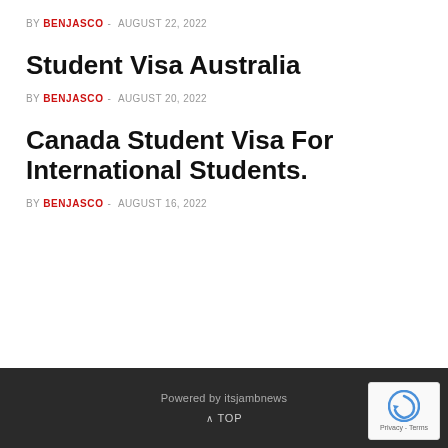BY BENJASCO - AUGUST 22, 2022
Student Visa Australia
BY BENJASCO - AUGUST 20, 2022
Canada Student Visa For International Students.
BY BENJASCO - AUGUST 16, 2022
Powered by itsjambnews  ∧ TOP